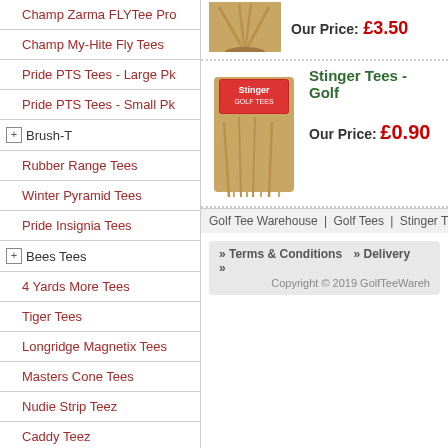Champ Zarma FLYTee Pro
Champ My-Hite Fly Tees
Pride PTS Tees - Large Pk
Pride PTS Tees - Small Pk
+ Brush-T
Rubber Range Tees
Winter Pyramid Tees
Pride Insignia Tees
+ Bees Tees
4 Yards More Tees
Tiger Tees
Longridge Magnetix Tees
Masters Cone Tees
Nudie Strip Teez
Caddy Teez
Clicgear Golf Tees
Green Tees
+ Lignum Tees
[Figure (photo): Bundle of wooden golf tees - top product]
Our Price: £3.50
[Figure (photo): Stinger golf tees product package - wooden tees in a bag with Stinger branding]
Stinger Tees - Golf
Our Price: £0.90
Golf Tee Warehouse | Golf Tees | Stinger T
>> Terms & Conditions  >> Delivery  >>
Copyright © 2019 GolfTeeWareh